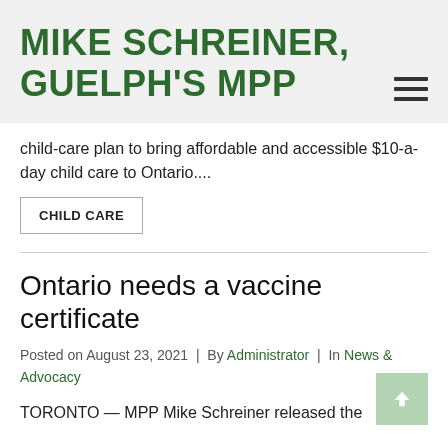MIKE SCHREINER, GUELPH'S MPP
child-care plan to bring affordable and accessible $10-a-day child care to Ontario....
CHILD CARE
Ontario needs a vaccine certificate
Posted on August 23, 2021 | By Administrator | In News & Advocacy
TORONTO — MPP Mike Schreiner released the